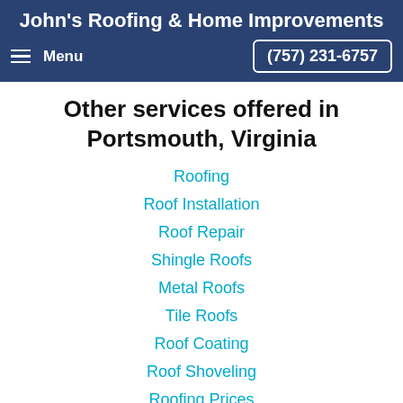John's Roofing & Home Improvements
Other services offered in Portsmouth, Virginia
Roofing
Roof Installation
Roof Repair
Shingle Roofs
Metal Roofs
Tile Roofs
Roof Coating
Roof Shoveling
Roofing Prices